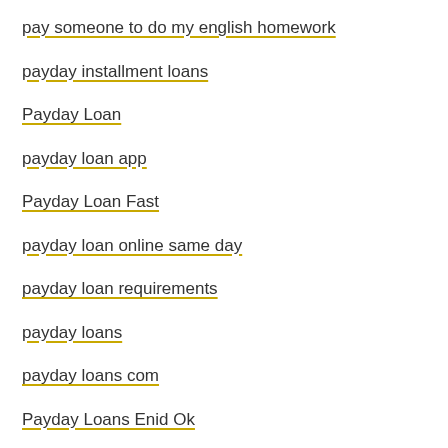pay someone to do my english homework
payday installment loans
Payday Loan
payday loan app
Payday Loan Fast
payday loan online same day
payday loan requirements
payday loans
payday loans com
Payday Loans Enid Ok
payday loans near me
payday loans no checks
payday loans no employment verification